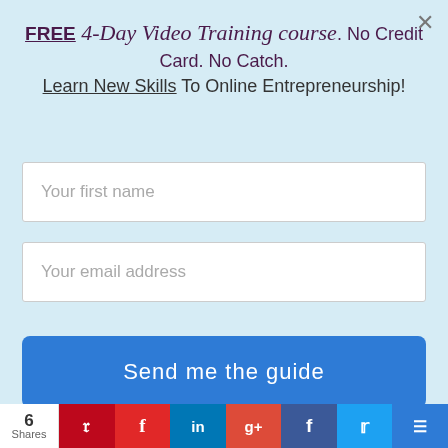FREE 4-Day Video Training course. No Credit Card. No Catch. Learn New Skills To Online Entrepreneurship!
Your first name
Your email address
Send me the guide
Software is easy to use
No coding needed